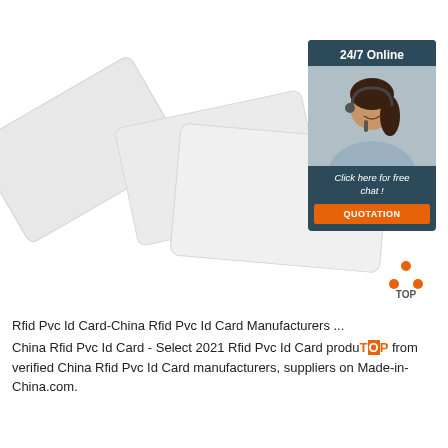[Figure (photo): Three white blank RFID PVC ID cards fanned out on a white background, with a customer service chat widget in the top-right corner showing '24/7 Online', a woman with a headset, 'Click here for free chat!' text, and an orange 'QUOTATION' button. A TOP logo (orange dots forming a triangle) appears in the lower right.]
Rfid Pvc Id Card-China Rfid Pvc Id Card Manufacturers ...
China Rfid Pvc Id Card - Select 2021 Rfid Pvc Id Card products from verified China Rfid Pvc Id Card manufacturers, suppliers on Made-in-China.com.